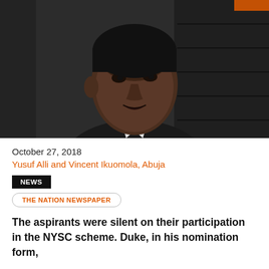[Figure (photo): Close-up photo of a middle-aged African man in a dark suit speaking, with a blurred background of shelves or panels]
October 27, 2018
Yusuf Alli and Vincent Ikuomola, Abuja
NEWS
THE NATION NEWSPAPER
The aspirants were silent on their participation in the NYSC scheme. Duke, in his nomination form,